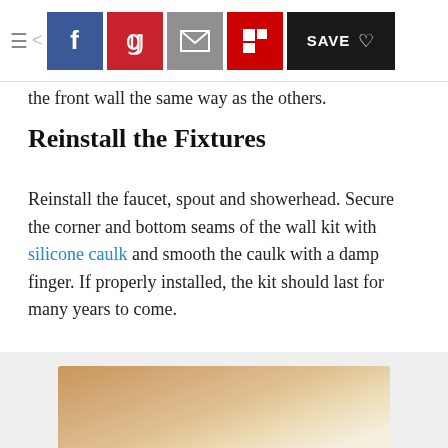Navigation bar with social sharing buttons: Facebook, Pinterest, Email, Flipboard, Save
the front wall the same way as the others.
Reinstall the Fixtures
Reinstall the faucet, spout and showerhead. Secure the corner and bottom seams of the wall kit with silicone caulk and smooth the caulk with a damp finger. If properly installed, the kit should last for many years to come.
Advertisement
[Figure (photo): Bottom of page advertisement area showing a wooden plank or board on a light background]